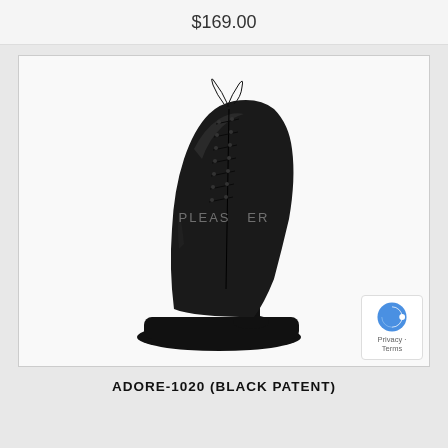$169.00
[Figure (photo): A black patent leather platform ankle boot with stiletto heel and lace-up front, brand Pleaser. Product watermark visible on the image.]
ADORE-1020 (BLACK PATENT)